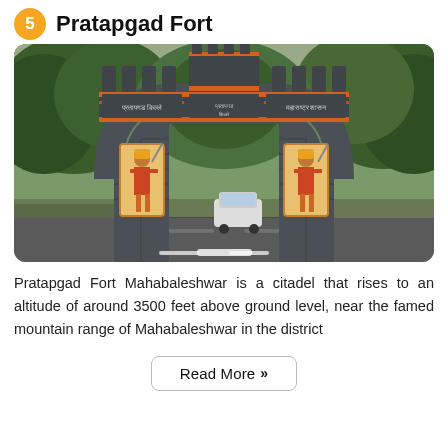Pratapgad Fort
[Figure (photo): Photo of the entrance gate to Pratapgad Fort in Mahabaleshwar. A large stone gateway with Maratha-style battlements and crenellations spans a road. The gate has orange and grey stone detailing, with mural paintings of warriors on the pillars on either side. Trees surround the gate and a white SUV is visible passing under the arch.]
Pratapgad Fort Mahabaleshwar is a citadel that rises to an altitude of around 3500 feet above ground level, near the famed mountain range of Mahabaleshwar in the district
Read More »